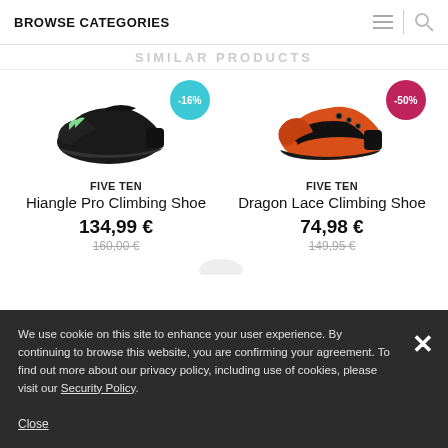BROWSE CATEGORIES
SIMILAR PRODUCTS
[Figure (photo): Five Ten Hiangle Pro Climbing Shoe (black) with -16% discount badge in cyan]
FIVE TEN
Hiangle Pro Climbing Shoe
134,99 €
160,00 €
[Figure (photo): Five Ten Dragon Lace Climbing Shoe (orange/black) with -50% discount badge in pink]
FIVE TEN
Dragon Lace Climbing Shoe
74,98 €
149,95 €
We use cookie on this site to enhance your user experience. By continuing to browse this website, you are confirming your agreement. To find out more about our privacy policy, including use of cookies, please visit our Security Policy.
Close